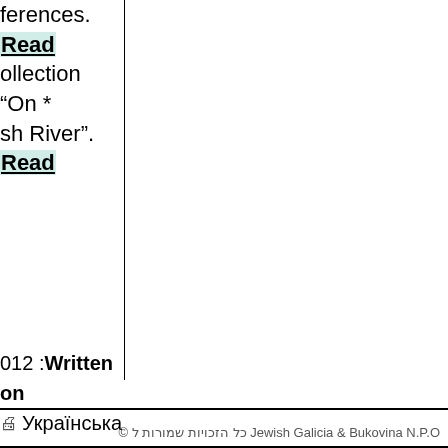ferences. Read
collection “On *
sh River”. Read
012 :Written on
🖨 Українська
© כל הזכויות שמורות ל Jewish Galicia & Bukovina N.P.O